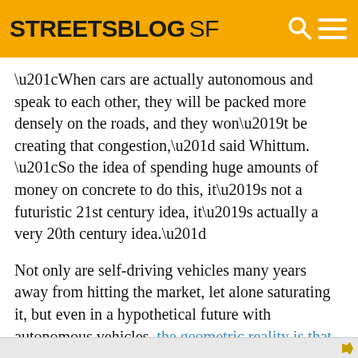STREETSBLOG SF
“When cars are actually autonomous and speak to each other, they will be packed more densely on the roads, and they won’t be creating that congestion,” said Whittum. “So the idea of spending huge amounts of money on concrete to do this, it’s not a futuristic 21st century idea, it’s actually a very 20th century idea.”
Not only are self-driving vehicles many years away from hitting the market, let alone saturating it, but even in a hypothetical future with autonomous vehicles, the geometric reality is that cars take up far more roadway space than buses, and the financial reality is that many people won’t use them.